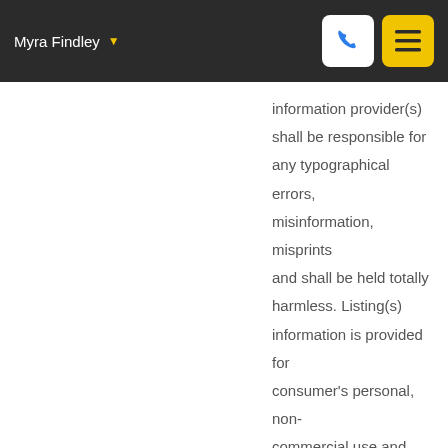Myra Findley
information provider(s) shall be responsible for any typographical errors, misinformation, misprints and shall be held totally harmless. Listing(s) information is provided for consumer's personal, non-commercial use and may not be used for any purpose other than to identify prospective properties consumers may be interested in purchasing. The data